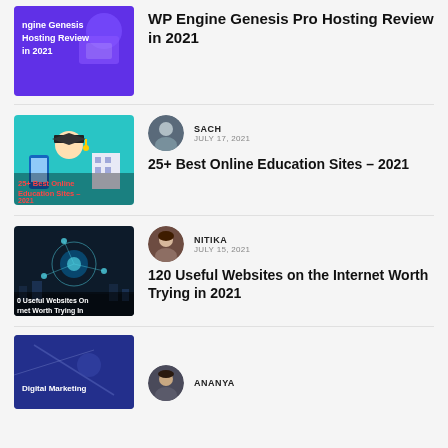[Figure (illustration): Purple background thumbnail with text 'WP Engine Genesis Hosting Review in 2021' and digital devices graphics]
WP Engine Genesis Pro Hosting Review in 2021
[Figure (illustration): Teal background thumbnail showing student with graduation cap, devices, and text '25+ Best Online Education Sites – 2021']
SACH
JULY 17, 2021
25+ Best Online Education Sites – 2021
[Figure (illustration): Dark blue technology network image with text '120 Useful Websites On the Internet Worth Trying In']
NITIKA
JULY 15, 2021
120 Useful Websites on the Internet Worth Trying in 2021
[Figure (photo): Digital Marketing themed thumbnail, partially visible]
ANANYA